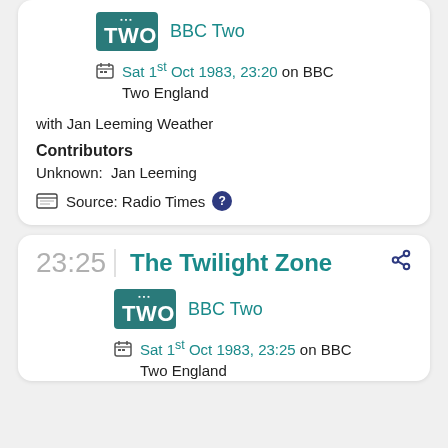[Figure (logo): BBC Two logo badge]
BBC Two
Sat 1st Oct 1983, 23:20 on BBC Two England
with Jan Leeming Weather
Contributors
Unknown:  Jan Leeming
Source: Radio Times
23:25
The Twilight Zone
[Figure (logo): BBC Two logo badge]
BBC Two
Sat 1st Oct 1983, 23:25 on BBC Two England